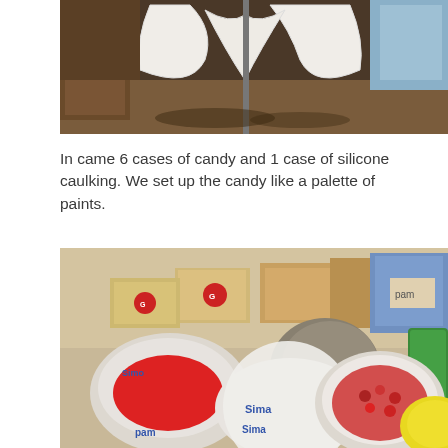[Figure (photo): Photo of large white foam or cardboard cutout shapes (resembling butterfly or ear shapes) standing on a brown floor near a metal pole, with boxes and a monitor visible in the background.]
In came 6 cases of candy and 1 case of silicone caulking. We set up the candy like a palette of paints.
[Figure (photo): Photo of many bags of colorful candy arranged on a table — red, blue, green, yellow varieties in plastic bags and cardboard boxes, including bags labeled 'pam' and resembling a painter's palette arrangement.]